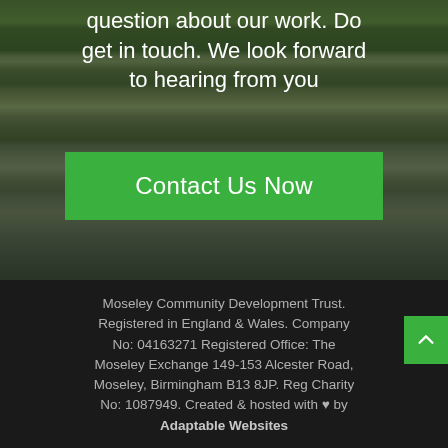[Figure (photo): Street scene with shops, traffic lights, trees, and cars in Moseley, Birmingham, overlaid with semi-transparent dark tint]
question about our work. Do get in touch. We look forward to hearing from you
Contact Us Now
Moseley Community Development Trust. Registered in England & Wales. Company No: 04163271 Registered Office: The Moseley Exchange 149-153 Alcester Road, Moseley, Birmingham B13 8JP. Reg Charity No: 1087949. Created & hosted with ♥ by Adaptable Websites